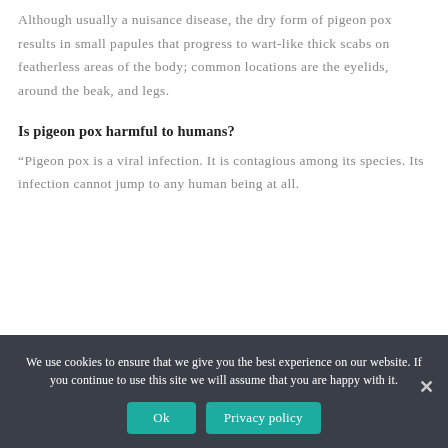Although usually a nuisance disease, the dry form of pigeon pox results in small papules that progress to wart-like thick scabs on featherless areas of the body; common locations are the eyelids, around the beak, and legs.
Is pigeon pox harmful to humans?
“Pigeon pox is a viral infection. It is contagious among its species. Its infection cannot jump to any human being at all.
We use cookies to ensure that we give you the best experience on our website. If you continue to use this site we will assume that you are happy with it.